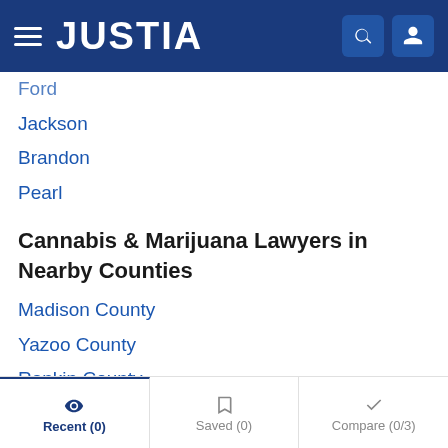JUSTIA
Ford
Jackson
Brandon
Pearl
Cannabis & Marijuana Lawyers in Nearby Counties
Madison County
Yazoo County
Rankin County
FAQ  Lawyers Get Listed
Recent (0)  Saved (0)  Compare (0/3)